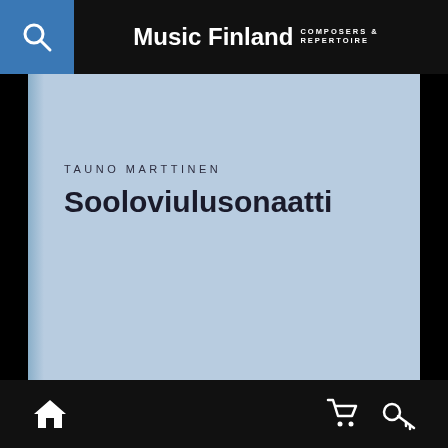Music Finland COMPOSERS & REPERTOIRE
[Figure (illustration): Light blue book cover showing composer name TAUNO MARTTINEN and work title Sooloviulusonaatti on a steel blue background with a darker spine on the left side]
TAUNO MARTTINEN
Sooloviulusonaatti
Home | Cart | Search icons in bottom navigation bar